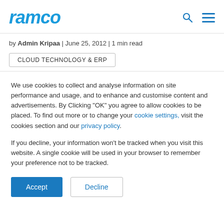ramco
by Admin Kripaa | June 25, 2012 | 1 min read
CLOUD TECHNOLOGY & ERP
We use cookies to collect and analyse information on site performance and usage, and to enhance and customise content and advertisements. By Clicking "OK" you agree to allow cookies to be placed. To find out more or to change your cookie settings, visit the cookies section and our privacy policy.
If you decline, your information won't be tracked when you visit this website. A single cookie will be used in your browser to remember your preference not to be tracked.
Accept
Decline